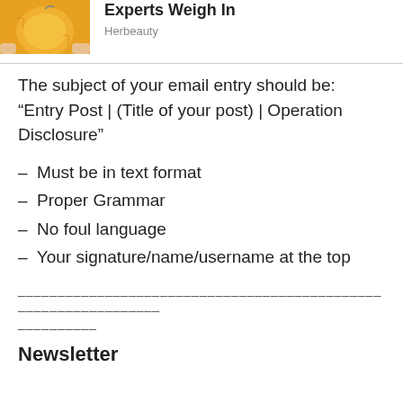[Figure (photo): Photo of an orange/yellow citrus fruit held by fingers, partially visible at top left]
Experts Weigh In
Herbeauty
The subject of your email entry should be: “Entry Post | (Title of your post) | Operation Disclosure”
– Must be in text format
– Proper Grammar
– No foul language
– Your signature/name/username at the top
________________________________________________________________
----------
Newsletter